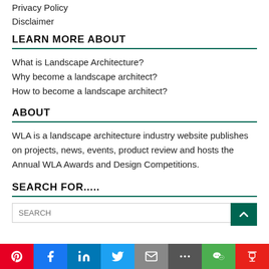Privacy Policy
Disclaimer
LEARN MORE ABOUT
What is Landscape Architecture?
Why become a landscape architect?
How to become a landscape architect?
ABOUT
WLA is a landscape architecture industry website publishes on projects, news, events, product review and hosts the Annual WLA Awards and Design Competitions.
SEARCH FOR.....
SEARCH
Social sharing bar: Pinterest, Facebook, LinkedIn, Twitter, Email, More, WeChat, Douban